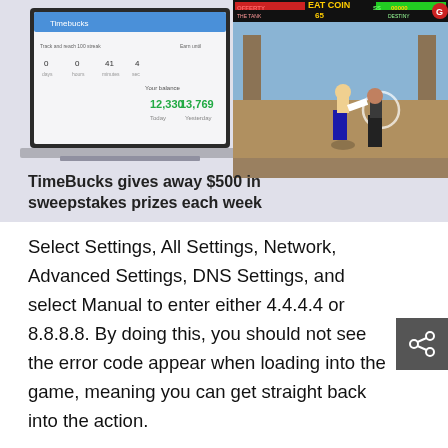[Figure (screenshot): Advertisement banner showing a laptop with TimeBucks dashboard and a fighting video game screenshot side by side, with text 'TimeBucks gives away $500 in sweepstakes prizes each week']
Select Settings, All Settings, Network, Advanced Settings, DNS Settings, and select Manual to enter either 4.4.4.4 or 8.8.8.8. By doing this, you should not see the error code appear when loading into the game, meaning you can get straight back into the action.